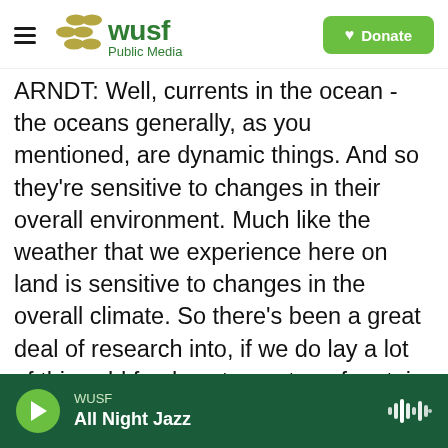WUSF Public Media | Donate
ARNDT: Well, currents in the ocean - the oceans generally, as you mentioned, are dynamic things. And so they're sensitive to changes in their overall environment. Much like the weather that we experience here on land is sensitive to changes in the overall climate. So there's been a great deal of research into, if we do lay a lot of this cold fresh water on top of certain parts of the - particularly the North Atlantic, how will that change the Gulf Stream and the larger global ocean circulation pattern that delivers much of the climate that we know and especially that Northern Europe knows?
WUSF | All Night Jazz